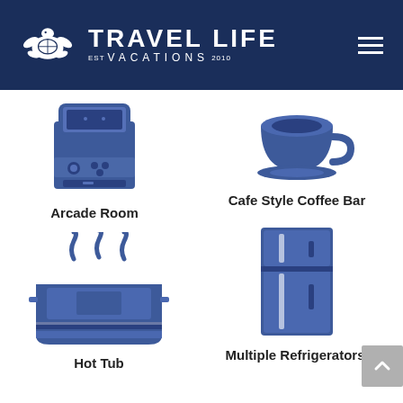Travel Life Vacations EST 2010
[Figure (illustration): Arcade room icon — blue arcade cabinet with controls and screen]
Arcade Room
[Figure (illustration): Coffee cup icon — blue cafe style coffee cup with saucer]
Cafe Style Coffee Bar
[Figure (illustration): Hot tub icon — blue steaming hot tub with steam lines]
Hot Tub
[Figure (illustration): Refrigerator icon — blue double-door refrigerator]
Multiple Refrigerators